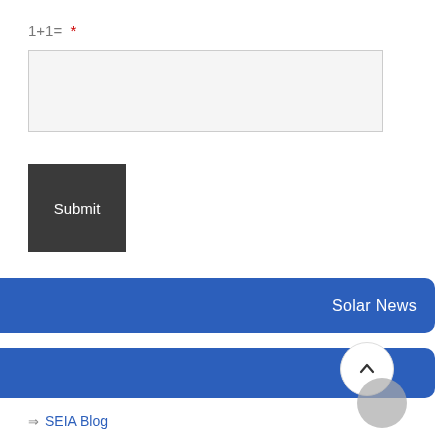1+1= *
Submit
Solar News
oll
⇒ SEIA Blog